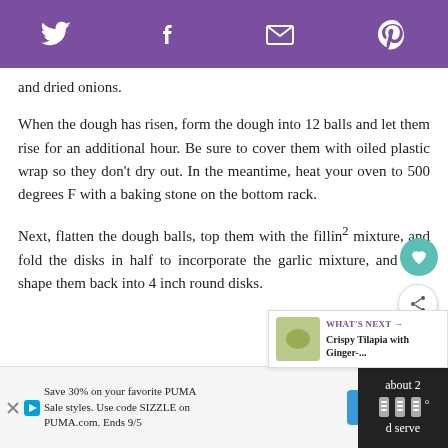Social share header with Twitter, Facebook, Email, Pinterest icons
and dried onions.
When the dough has risen, form the dough into 12 balls and let them rise for an additional hour. Be sure to cover them with oiled plastic wrap so they don't dry out. In the meantime, heat your oven to 500 degrees F with a baking stone on the bottom rack.
Next, flatten the dough balls, top them with the filling mixture, and fold the disks in half to incorporate the garlic mixture, and then shape them back into 4 inch round disks.
[Figure (other): What's Next promo box with image thumbnail and text: Crispy Tilapia with Ginger-...]
[Figure (other): Advertisement: Save 30% on your favorite PUMA Sale styles. Use code SIZZLE on PUMA.com. Ends 9/5. SHOP NOW button.]